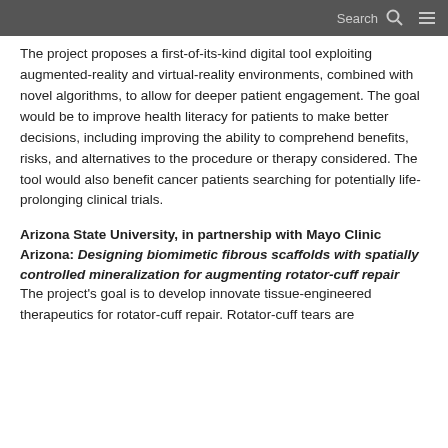Search ☰
The project proposes a first-of-its-kind digital tool exploiting augmented-reality and virtual-reality environments, combined with novel algorithms, to allow for deeper patient engagement. The goal would be to improve health literacy for patients to make better decisions, including improving the ability to comprehend benefits, risks, and alternatives to the procedure or therapy considered. The tool would also benefit cancer patients searching for potentially life-prolonging clinical trials.
Arizona State University, in partnership with Mayo Clinic Arizona: Designing biomimetic fibrous scaffolds with spatially controlled mineralization for augmenting rotator-cuff repair
The project's goal is to develop innovate tissue-engineered therapeutics for rotator-cuff repair. Rotator-cuff tears are